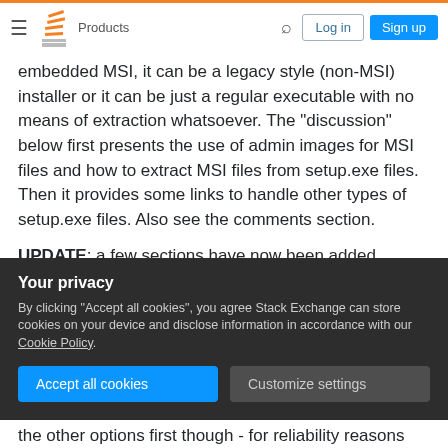Stack Overflow — Products | Log in | Sign up
embedded MSI, it can be a legacy style (non-MSI) installer or it can be just a regular executable with no means of extraction whatsoever. The "discussion" below first presents the use of admin images for MSI files and how to extract MSI files from setup.exe files. Then it provides some links to handle other types of setup.exe files. Also see the comments section.
UPDATE: a few sections have now been added directly below, before the description of MSI file extract using administrative installation. Most
Your privacy
By clicking "Accept all cookies", you agree Stack Exchange can store cookies on your device and disclose information in accordance with our Cookie Policy.
Accept all cookies
Customize settings
the other options first though - for reliability reasons